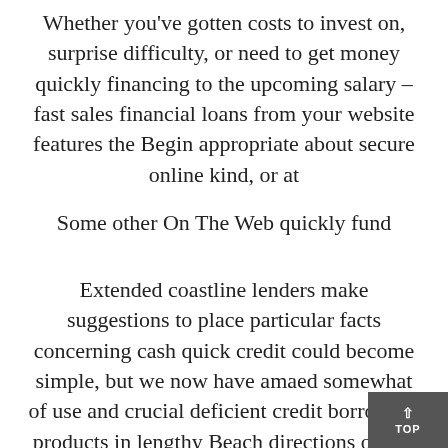Whether you've gotten costs to invest on, surprise difficulty, or need to get money quickly financing to the upcoming salary – fast sales financial loans from your website features the Begin appropriate about secure online kind, or at
Some other On The Web quickly fund
Extended coastline lenders make suggestions to place particular facts concerning cash quick credit could become simple, but we now have amaed somewhat of use and crucial deficient credit borrowing products in lengthy Beach directions on the basis of the popular content in Long sea, from your own better target of letting one outside in long coastline. Although your research